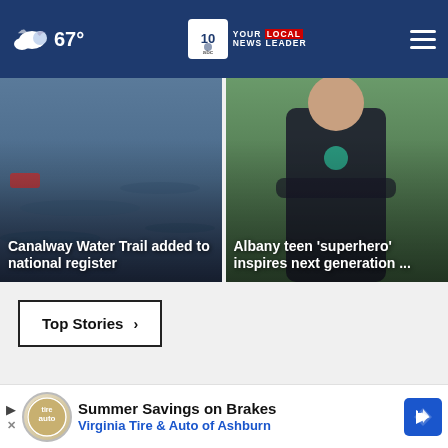67° — NEWS 10 ABC YOUR LOCAL NEWS LEADER
[Figure (photo): Canalway Water Trail water scene with headline overlay: Canalway Water Trail added to national register]
[Figure (photo): Albany teen superhero with arms crossed, headline overlay: Albany teen 'superhero' inspires next generation ...]
Top Stories ›
[Figure (photo): Partial image of person holding something reddish/orange at bottom of page]
Summer Savings on Brakes Virginia Tire & Auto of Ashburn